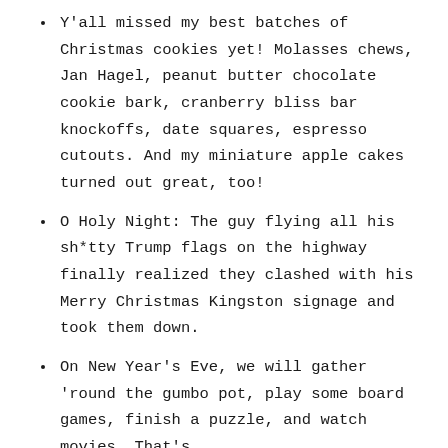Y'all missed my best batches of Christmas cookies yet! Molasses chews, Jan Hagel, peanut butter chocolate cookie bark, cranberry bliss bar knockoffs, date squares, espresso cutouts. And my miniature apple cakes turned out great, too!
O Holy Night: The guy flying all his sh*tty Trump flags on the highway finally realized they clashed with his Merry Christmas Kingston signage and took them down.
On New Year's Eve, we will gather 'round the gumbo pot, play some board games, finish a puzzle, and watch movies. That's